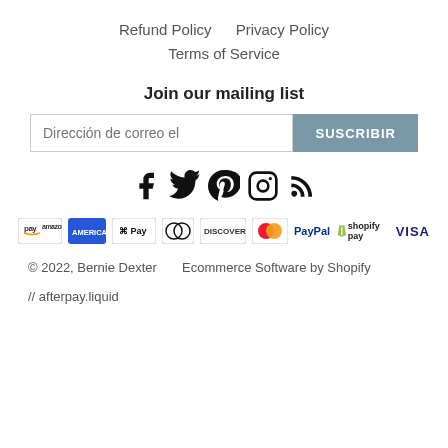Refund Policy    Privacy Policy
Terms of Service
Join our mailing list
Dirección de correo el   SUSCRIBIR
[Figure (other): Social media icons: Facebook, Twitter, Pinterest, Instagram, RSS]
[Figure (other): Payment method logos: Amazon Pay, American Express, Apple Pay, Diners Club, Discover, Mastercard, PayPal, Shopify Pay, Visa]
© 2022, Bernie Dexter    Ecommerce Software by Shopify
// afterpay.liquid